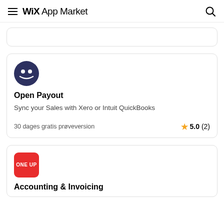Wix App Market
[Figure (screenshot): Partially visible card at top of page]
Open Payout
Sync your Sales with Xero or Intuit QuickBooks
30 dages gratis prøveversion
5.0 (2)
Accounting & Invoicing